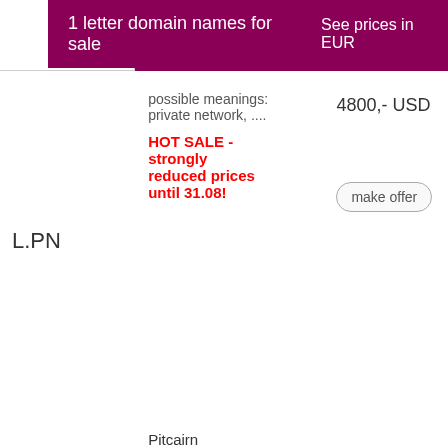1 letter domain names for sale   See prices in EUR
| Domain | Info | Price | Action |
| --- | --- | --- | --- |
| L.PN | possible meanings: private network, ....
HOT SALE - strongly reduced prices until 31.08! | 4800,- USD | buy now / make offer |
| M.PN | Pitcairn
possible meanings: private network, ....
HOT SALE - strongly reduced prices until 31.08! | 4800,- USD | buy now / make offer |
| (next) | Pitcairn
possible meanings: private network,... | 5800,- USD | buy now |